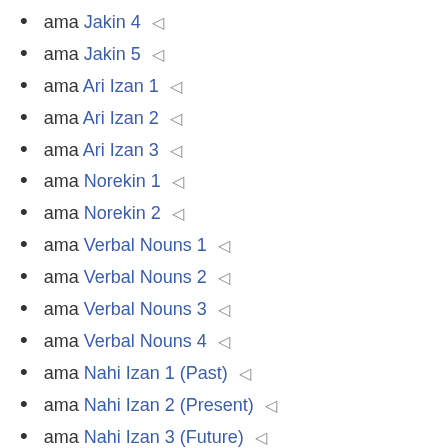ama Jakin 4 ◁
ama Jakin 5 ◁
ama Ari Izan 1 ◁
ama Ari Izan 2 ◁
ama Ari Izan 3 ◁
ama Norekin 1 ◁
ama Norekin 2 ◁
ama Verbal Nouns 1 ◁
ama Verbal Nouns 2 ◁
ama Verbal Nouns 3 ◁
ama Verbal Nouns 4 ◁
ama Nahi Izan 1 (Past) ◁
ama Nahi Izan 2 (Present) ◁
ama Nahi Izan 3 (Future) ◁
ama Nahi Izan 4 (in order to do something) ◁
ama Edan 1 (Past) ◁